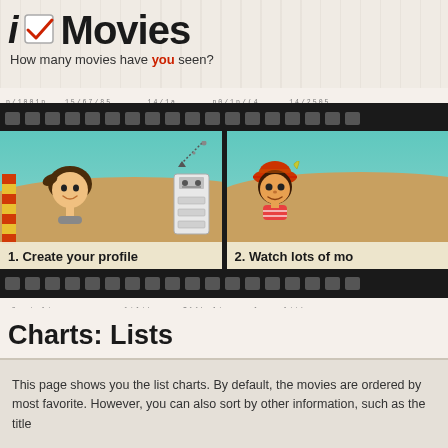i Movies — How many movies have you seen?
[Figure (illustration): Film strip banner showing two panels: left panel with cartoon child character on sandy hill with robot, labeled '1. Create your profile'; right panel with pirate character on sandy hill, labeled '2. Watch lots of mo[vies]']
Charts: Lists
This page shows you the list charts. By default, the movies are orde[red by most] favorite. However, you can also sort by other information, such as th[e title]